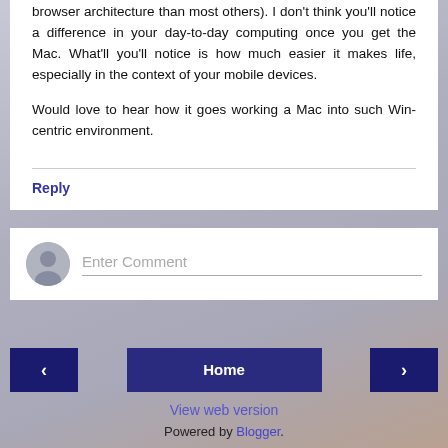browser architecture than most others). I don't think you'll notice a difference in your day-to-day computing once you get the Mac. What'll you'll notice is how much easier it makes life, especially in the context of your mobile devices.
Would love to hear how it goes working a Mac into such Win-centric environment.
Reply
Enter Comment
Home
View web version
Powered by Blogger.